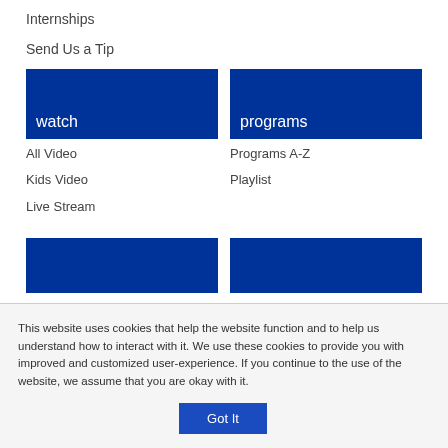Internships
Send Us a Tip
[Figure (other): Blue banner section header labeled 'watch']
All Video
Kids Video
Live Stream
[Figure (other): Blue banner section header labeled 'programs']
Programs A-Z
Playlist
[Figure (other): Two blue banner sections at bottom, partially visible]
This website uses cookies that help the website function and to help us understand how to interact with it. We use these cookies to provide you with improved and customized user-experience. If you continue to the use of the website, we assume that you are okay with it.
Got It